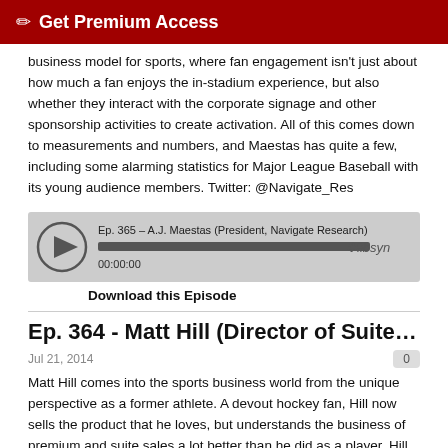Get Premium Access
business model for sports, where fan engagement isn't just about how much a fan enjoys the in-stadium experience, but also whether they interact with the corporate signage and other sponsorship activities to create activation. All of this comes down to measurements and numbers, and Maestas has quite a few, including some alarming statistics for Major League Baseball with its young audience members. Twitter: @Navigate_Res
[Figure (other): Audio player widget for Ep. 365 – A.J. Maestas (President, Navigate Research) showing progress bar at 00:00:00 with libsyn branding]
Download this Episode
Ep. 364 - Matt Hill (Director of Suite Sales, T...
Jul 21, 2014
Matt Hill comes into the sports business world from the unique perspective as a former athlete. A devout hockey fan, Hill now sells the product that he loves, but understands the business of premium and suite sales a lot better than he did as a player. Hill expands on some of his misconceptions prior to selling premium seat inventory, and what the Tampa